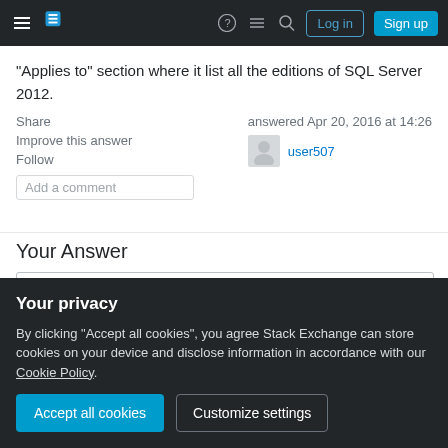Stack Exchange navigation bar with Log in and Sign up buttons
"Applies to" section where it list all the editions of SQL Server 2012.
Share | Improve this answer | Follow | Add a comment
answered Apr 20, 2016 at 14:26
user507
Your Answer
[Figure (screenshot): Text editor toolbar with formatting icons: B, I, link, blockquote, code, image, ordered list, unordered list, align icons, undo, redo]
Your privacy
By clicking "Accept all cookies", you agree Stack Exchange can store cookies on your device and disclose information in accordance with our Cookie Policy.
Accept all cookies | Customize settings